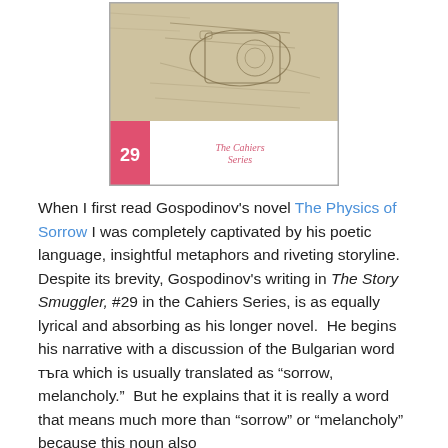[Figure (illustration): Book cover of The Story Smuggler, #29 in the Cahiers Series, showing a vintage illustration with a pink/red strip on the left side and the text '29' and 'The Cahiers Series' logo at the bottom.]
When I first read Gospodinov's novel The Physics of Sorrow I was completely captivated by his poetic language, insightful metaphors and riveting storyline. Despite its brevity, Gospodinov's writing in The Story Smuggler, #29 in the Cahiers Series, is as equally lyrical and absorbing as his longer novel. He begins his narrative with a discussion of the Bulgarian word тъга which is usually translated as “sorrow, melancholy.” But he explains that it is really a word that means much more than “sorrow” or “melancholy” because this noun also